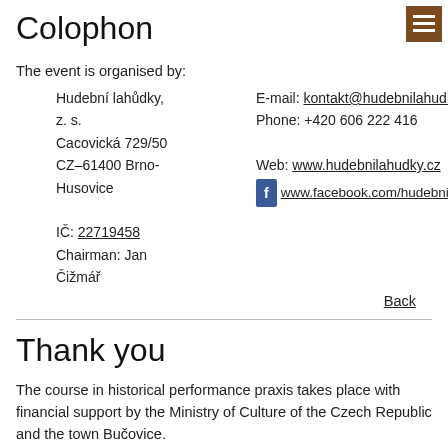Colophon
The event is organised by:
Hudební lahůdky, z. s.
Cacovická 729/50
CZ–61400 Brno-Husovice

IČ: 22719458
Chairman: Jan Čižmář
E-mail: kontakt@hudebnilahudky.
Phone: +420 606 222 416

Web: www.hudebnilahudky.cz
[f] www.facebook.com/hudebnilahu
Back
Thank you
The course in historical performance praxis takes place with financial support by the Ministry of Culture of the Czech Republic and the town Bučovice.
For goodwill and pleasant cooperation we thank the municipality